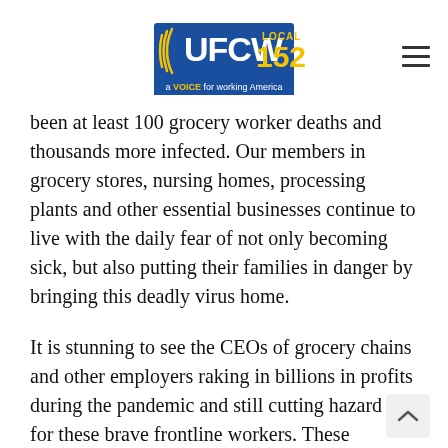UFCW LOCAL 152 - a VOICE for working America
been at least 100 grocery worker deaths and thousands more infected. Our members in grocery stores, nursing homes, processing plants and other essential businesses continue to live with the daily fear of not only becoming sick, but also putting their families in danger by bringing this deadly virus home.
It is stunning to see the CEOs of grocery chains and other employers raking in billions in profits during the pandemic and still cutting hazard pay for these brave frontline workers. These companies are treating grocery workers as expendable at a time when the danger of the virus is just as real as on Day One of the